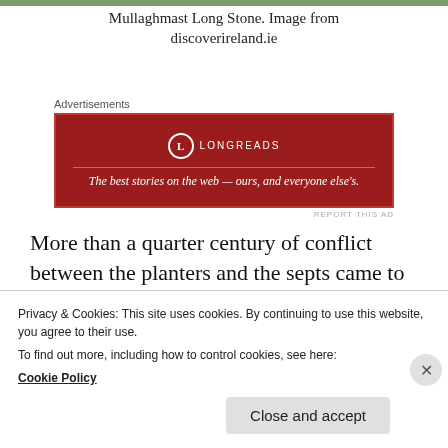[Figure (photo): Top edge of a photo showing greenery/landscape — Mullaghmast Long Stone image]
Mullaghmast Long Stone. Image from discoverireland.ie
Advertisements
[Figure (other): Longreads advertisement banner: red background with Longreads logo and tagline 'The best stories on the web — ours, and everyone else's.']
REPORT THIS AD
More than a quarter century of conflict between the planters and the septs came to a head with a notorious event on a hill at Mullaghmast near the border between Laois and Kildare. Sometime in the spring of 1577 or '8 the sept leaders and their
Privacy & Cookies: This site uses cookies. By continuing to use this website, you agree to their use.
To find out more, including how to control cookies, see here:
Cookie Policy
Close and accept